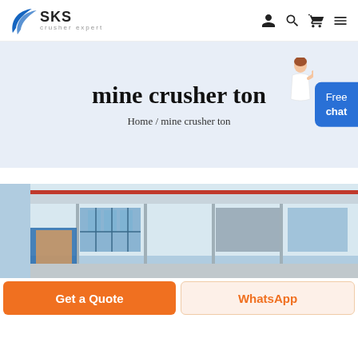SKS crusher expert — navigation header with logo and icons
mine crusher ton
Home / mine crusher ton
[Figure (photo): Industrial building exterior with large windows, metal structure, red overhead beam, and a banner image on the left side showing construction/mining equipment.]
Get a Quote
WhatsApp